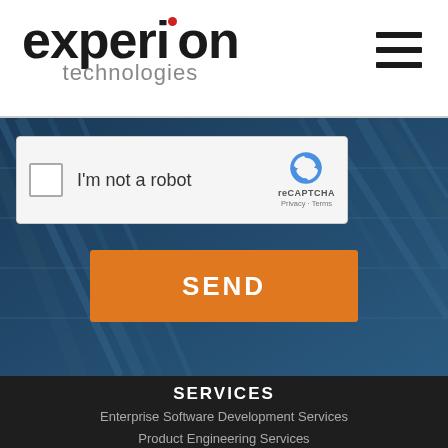[Figure (logo): Experion Technologies logo with red dot above 'i' and 'technologies' in gray below]
[Figure (other): Hamburger menu icon with three horizontal black bars]
[Figure (screenshot): Google reCAPTCHA widget showing checkbox, 'I'm not a robot' text, and reCAPTCHA logo with Privacy and Terms links]
[Figure (other): Orange SEND button]
SERVICES
Enterprise Software Development Services
Product Engineering Services
Digital Transformation Services